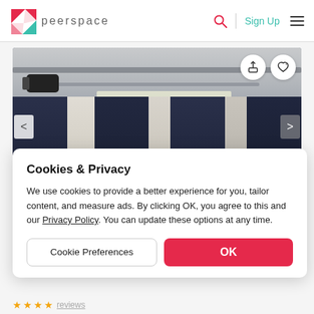peerspace   Sign Up
[Figure (photo): Interior photo of a venue space showing industrial ceiling with pipes, projector, and dark drape curtains with natural light windows behind them]
Cookies & Privacy
We use cookies to provide a better experience for you, tailor content, and measure ads. By clicking OK, you agree to this and our Privacy Policy. You can update these options at any time.
Cookie Preferences   OK